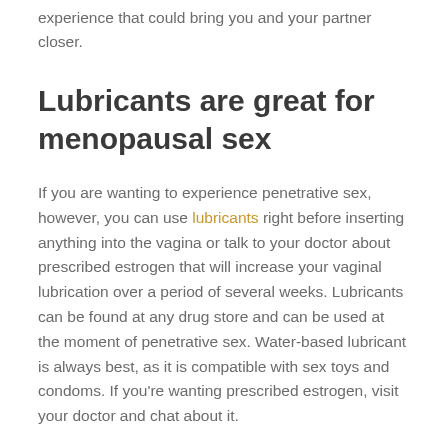experience that could bring you and your partner closer.
Lubricants are great for menopausal sex
If you are wanting to experience penetrative sex, however, you can use lubricants right before inserting anything into the vagina or talk to your doctor about prescribed estrogen that will increase your vaginal lubrication over a period of several weeks. Lubricants can be found at any drug store and can be used at the moment of penetrative sex. Water-based lubricant is always best, as it is compatible with sex toys and condoms. If you're wanting prescribed estrogen, visit your doctor and chat about it.
This can make penetrative sex more enjoyable. You might notice after menopause though, that your body responds